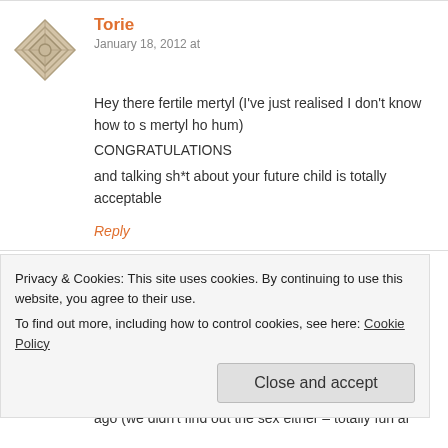[Figure (illustration): Geometric/diamond pattern avatar for user Torie]
Torie
January 18, 2012 at
Hey there fertile mertyl (I've just realised I don't know how to s mertyl ho hum)
CONGRATULATIONS
and talking sh*t about your future child is totally acceptable
Reply
[Figure (photo): Photo of Jessica, a woman with hat raising arm]
Jessica
January 18, 2012 at
Congratulations! Usually a lurker, but such good news (and hila mandates coming out of the bushes. It'll be a great adventure, that's for sur had my first 5 months ago (we didn't find out the sex either – totally fun ar
Privacy & Cookies: This site uses cookies. By continuing to use this website, you agree to their use.
To find out more, including how to control cookies, see here: Cookie Policy
Close and accept